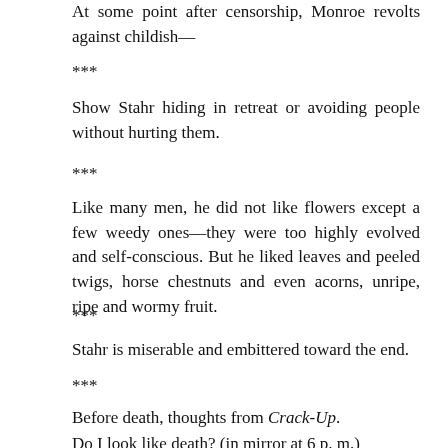At some point after censorship, Monroe revolts against childish—
***
Show Stahr hiding in retreat or avoiding people without hurting them.
***
Like many men, he did not like flowers except a few weedy ones—they were too highly evolved and self-conscious. But he liked leaves and peeled twigs, horse chestnuts and even acorns, unripe, ripe and wormy fruit.
***
Stahr is miserable and embittered toward the end.
***
Before death, thoughts from Crack-Up.
Do I look like death? (in mirror at 6 p. m.)
***
Men who have been endowed with unusual powers for good are under a heavier…